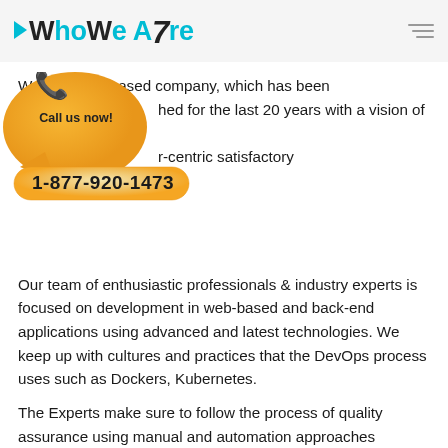WhoWe Are
We are a US-based company, which has been established for the last 20 years with a vision of always providing customer-centric satisfactory services.
[Figure (infographic): Orange speech bubble with phone icon, 'Call us now!' text, and phone number 1-877-920-1473]
Our team of enthusiastic professionals & industry experts is focused on development in web-based and back-end applications using advanced and latest technologies. We keep up with cultures and practices that the DevOps process uses such as Dockers, Kubernetes.
The Experts make sure to follow the process of quality assurance using manual and automation approaches integrated with the tool supports such as selenium and